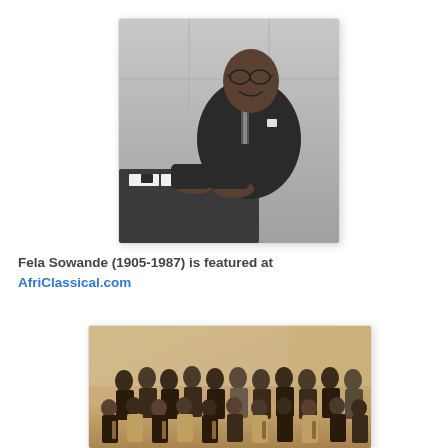[Figure (photo): Black and white portrait photo of Fela Sowande seated at a piano, wearing a suit, smiling]
Fela Sowande (1905-1987) is featured at AfriClassical.com
[Figure (photo): Sepia-toned group photo of an orchestra or ensemble, many people holding instruments, standing in rows in what appears to be a hall]